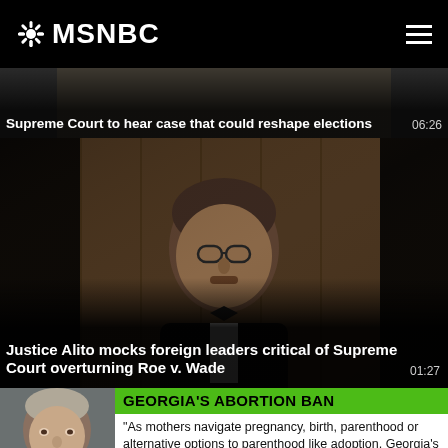MSNBC
Supreme Court to hear case that could reshape elections
06:26
[Figure (photo): Man in tuxedo with bow tie speaking at a formal event, dark wooden paneled background]
Justice Alito mocks foreign leaders critical of Supreme Court overturning Roe v. Wade
01:27
[Figure (photo): Man's face visible on left side, green banner reading GEORGIA'S ABORTION BAN, white card below with quote text]
"As mothers navigate pregnancy, birth, parenthood or alternative options to parenthood like adoption, Georgia's